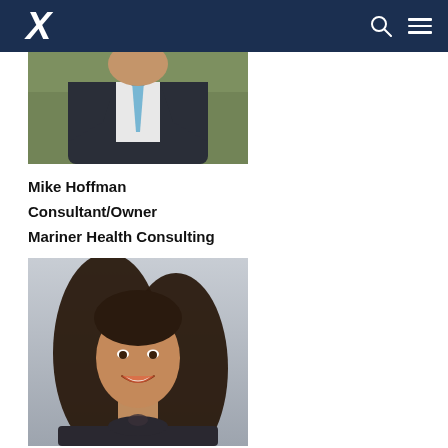Xavier University navigation bar with logo, search icon, and menu icon
[Figure (photo): Partial headshot of Mike Hoffman, a man in a dark suit with a light blue tie]
Mike Hoffman
Consultant/Owner
Mariner Health Consulting
[Figure (photo): Headshot of a woman with long dark hair, smiling, wearing a dark top]